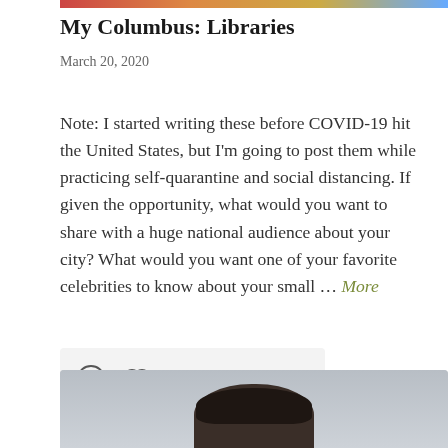[Figure (photo): Partial image at the top of the page, cropped — appears to be colorful decorative or event image]
My Columbus: Libraries
March 20, 2020
Note: I started writing these before COVID-19 hit the United States, but I'm going to post them while practicing self-quarantine and social distancing. If given the opportunity, what would you want to share with a huge national audience about your city? What would you want one of your favorite celebrities to know about your small … More
[Figure (photo): Bottom portion of a person's head/portrait photo, cropped — shows dark hair against a light gray background]